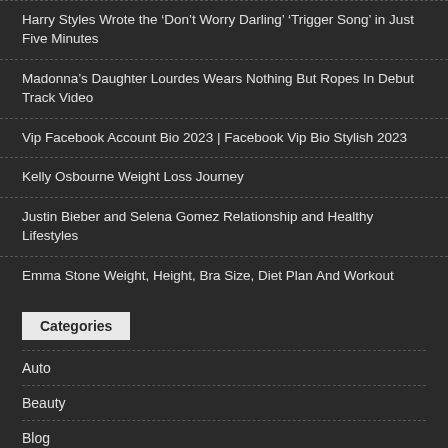Harry Styles Wrote the ‘Don’t Worry Darling’ ‘Trigger Song’ in Just Five Minutes
Madonna’s Daughter Lourdes Wears Nothing But Ropes In Debut Track Video
Vip Facebook Account Bio 2023 | Facebook Vip Bio Stylish 2023
Kelly Osbourne Weight Loss Journey
Justin Bieber and Selena Gomez Relationship and Healthy Lifestyles
Emma Stone Weight, Height, Bra Size, Diet Plan And Workout
Categories
Auto
Beauty
Blog
Business